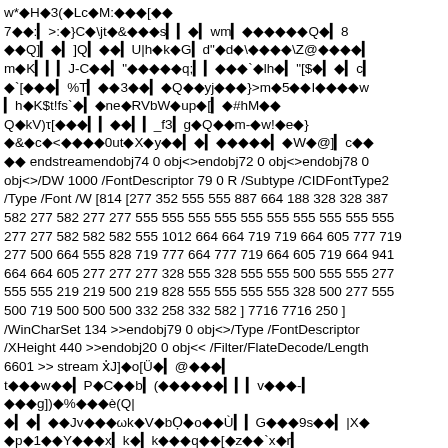w*◆H◆3(◆Lc◆M:◆◆◆[◆◆ 7◆◆:▮>:◆}C◆\jt◆&◆◆◆s▮▮◆▮wm▮◆◆◆◆◆◆Q◆▮8 ◆◆Q]▮◆▮]Q▮◆◆▮U|h◆k◆G▮d"◆d◆\◆◆◆◆\Z@◆◆◆◆▮ m◆K▮▮▮J-C◆◆▮"◆◆◆◆◆q;▮▮◆◆◆`◆lh◆▮"[$◆▮◆▮c▮ ◆`[◆◆◆▮%T▮◆◆3◆◆▮◆Q◆◆yj◆◆◆}>m◆5◆◆I◆◆◆◆w ▮h◆K$t!fs`◆▮◆ne◆RVbW◆up◆[▮◆#hM◆◆ Q◆kV)τ[◆◆◆▮▮◆◆▮▮_f3▮g◆Q◆◆m-◆w!◆e◆} ◆&◆c◆<◆◆◆◆0ut◆X◆y◆◆▮◆▮◆◆◆◆◆▮◆W◆@]▮c◆◆ ◆◆ endstreamendobj74 0 obj<>endobj72 0 obj<>endobj78 0 obj<>/DW 1000 /FontDescriptor 79 0 R /Subtype /CIDFontType2 /Type /Font /W [814 [277 352 555 555 887 664 188 328 328 387 582 277 582 277 277 555 555 555 555 555 555 555 555 555 555 277 277 582 582 582 555 1012 664 664 719 719 664 605 777 719 277 500 664 555 828 719 777 664 777 719 664 605 719 664 941 664 664 605 277 277 277 328 555 328 555 555 500 555 555 277 555 555 219 219 500 219 828 555 555 555 555 328 500 277 555 500 719 500 500 500 332 258 332 582 ] 7716 7716 250 ] /WinCharSet 134 >>endobj79 0 obj<>/Type /FontDescriptor /XHeight 440 >>endobj20 0 obj<< /Filter/FlateDecode/Length 6601 >> stream xJ̣◆o[Ü◆▮@◆◆◆▮ t◆◆◆w◆◆▮P◆C◆◆b▮(◆◆◆◆◆◆▮▮▮v◆◆◆- ▮ ◆◆◆g])◆%◆◆◆è(Q| ◆▮◆▮◆◆Jv◆◆◆ωk◆V◆bọ◆o◆◆Ù▮▮G◆◆◆9s◆◆▮|X◆ ◆p◆1◆◆Y◆◆◆x▮k◆▮k◆◆◆q◆◆[◆z◆◆`x◆r▮ ◆▮-2◆▮◆◆◆◆◆◆◆◆◆◆◆◆◆◆8◆A◆◆▮S◆▮◆◆◆◆▮11◆◆